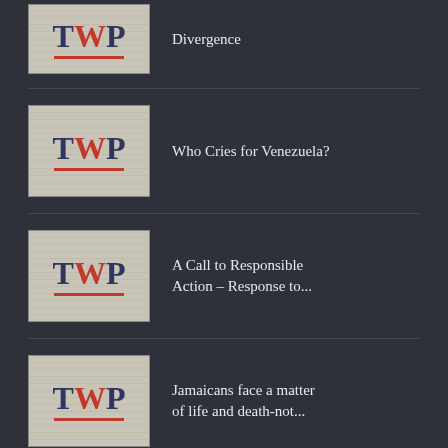Divergence
[Figure (logo): TWP logo thumbnail with red W and underline on aged paper background]
Who Cries for Venezuela?
[Figure (logo): TWP logo thumbnail with red W and underline on aged paper background]
A Call to Responsible Action – Response to...
[Figure (logo): TWP logo thumbnail with red W and underline on aged paper background]
Jamaicans face a matter of life and death-not...
Join Us
[Figure (other): Orange RSS feed icon button]